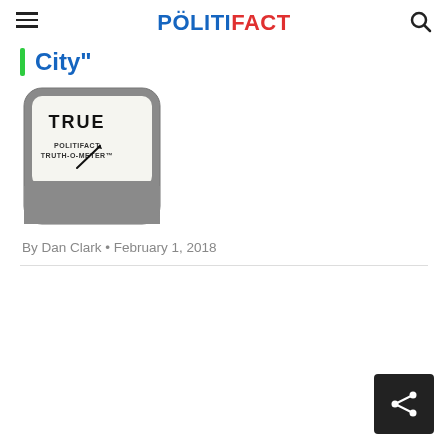POLITIFACT
City"
[Figure (illustration): PolitiFact Truth-O-Meter gauge showing TRUE rating with green indicator light and needle pointing to TRUE.]
By Dan Clark • February 1, 2018